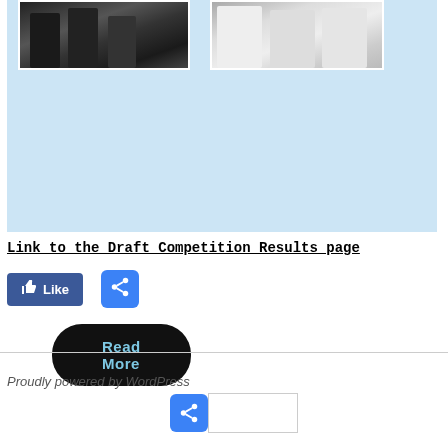[Figure (photo): Two photos side by side showing groups of people, on a light blue background with a Read More button]
Read More
Link to the Draft Competition Results page
[Figure (screenshot): Facebook Like button (blue)]
[Figure (screenshot): Share button (blue rounded square with share icon)]
Proudly powered by WordPress
[Figure (screenshot): Share button and empty label box in footer]